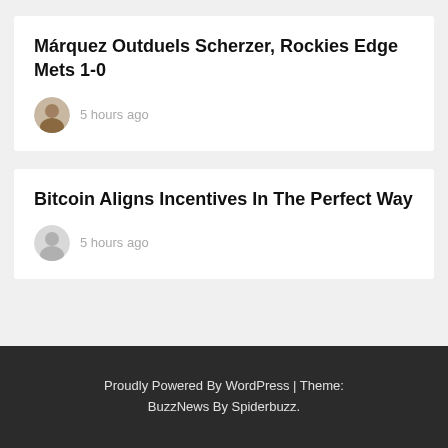Márquez Outduels Scherzer, Rockies Edge Mets 1-0
5 hours ago
Bitcoin Aligns Incentives In The Perfect Way
5 hours ago
Proudly Powered By WordPress | Theme: BuzzNews By Spiderbuzz.